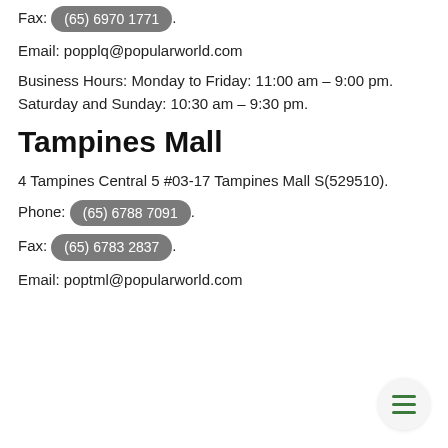Fax: (65) 6970 1771.
Email: popplq@popularworld.com
Business Hours: Monday to Friday: 11:00 am – 9:00 pm. Saturday and Sunday: 10:30 am – 9:30 pm.
Tampines Mall
4 Tampines Central 5 #03-17 Tampines Mall S(529510).
Phone: (65) 6788 7091.
Fax: (65) 6783 2837.
Email: poptml@popularworld.com